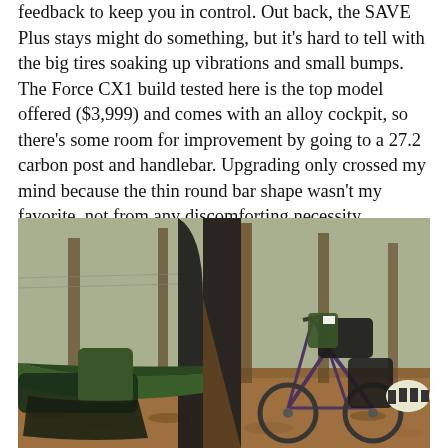feedback to keep you in control. Out back, the SAVE Plus stays might do something, but it's hard to tell with the big tires soaking up vibrations and small bumps. The Force CX1 build tested here is the top model offered ($3,999) and comes with an alloy cockpit, so there's some room for improvement by going to a 27.2 carbon post and handlebar. Upgrading only crossed my mind because the thin round bar shape wasn't my favorite, not from any discomforting necessity.
[Figure (photo): Outdoor forest scene showing a bicycle loaded with bikepacking gear leaning against a tree, with a hammock and dark fabric/sleeping bag hanging nearby. Dry leaves cover the ground, bare trees visible in background with a fence.]